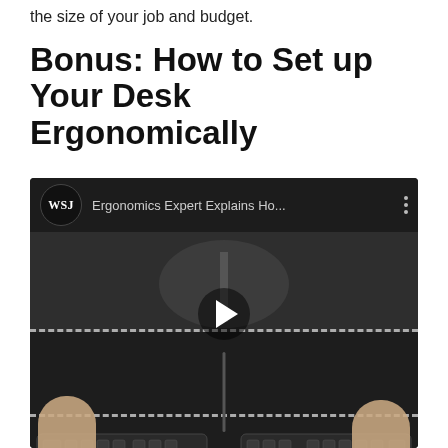the size of your job and budget.
Bonus: How to Set up Your Desk Ergonomically
[Figure (screenshot): Embedded WSJ YouTube video thumbnail showing a top-down view of an ergonomic desk setup with a split keyboard. The video title reads 'Ergonomics Expert Explains Ho...' with WSJ logo. A play button is visible in the center. Dashed horizontal lines indicate monitor and keyboard positioning zones.]